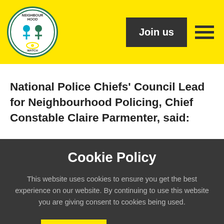Neighbourhood Watch — Join us
National Police Chiefs' Council Lead for Neighbourhood Policing, Chief Constable Claire Parmenter, said:
Cookie Policy
This website uses cookies to ensure you get the best experience on our website. By continuing to use this website you are giving consent to cookies being used.
ACCEPT | More information